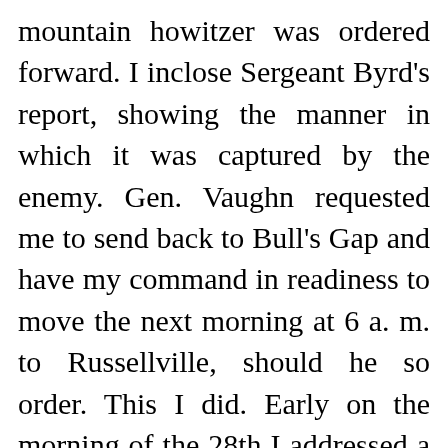mountain howitzer was ordered forward. I inclose Sergeant Byrd's report, showing the manner in which it was captured by the enemy. Gen. Vaughn requested me to send back to Bull's Gap and have my command in readiness to move the next morning at 6 a. m. to Russellville, should he so order. This I did. Early on the morning of the 28th I addressed a note to Gen. Vaughn to know if my command had been ordered up during the night, in order that if it had I might go back and place it in position at Russellville; or if it had not, that I might go to his headquarters and hold a conference with him, and listen to Gen. Breckinridge's I